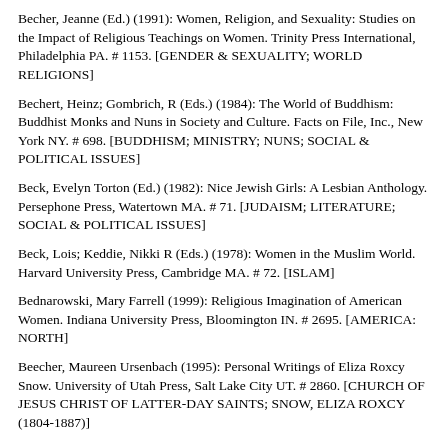Becher, Jeanne (Ed.) (1991): Women, Religion, and Sexuality: Studies on the Impact of Religious Teachings on Women. Trinity Press International, Philadelphia PA. # 1153. [GENDER & SEXUALITY; WORLD RELIGIONS]
Bechert, Heinz; Gombrich, R (Eds.) (1984): The World of Buddhism: Buddhist Monks and Nuns in Society and Culture. Facts on File, Inc., New York NY. # 698. [BUDDHISM; MINISTRY; NUNS; SOCIAL & POLITICAL ISSUES]
Beck, Evelyn Torton (Ed.) (1982): Nice Jewish Girls: A Lesbian Anthology. Persephone Press, Watertown MA. # 71. [JUDAISM; LITERATURE; SOCIAL & POLITICAL ISSUES]
Beck, Lois; Keddie, Nikki R (Eds.) (1978): Women in the Muslim World. Harvard University Press, Cambridge MA. # 72. [ISLAM]
Bednarowski, Mary Farrell (1999): Religious Imagination of American Women. Indiana University Press, Bloomington IN. # 2695. [AMERICA: NORTH]
Beecher, Maureen Ursenbach (1995): Personal Writings of Eliza Roxcy Snow. University of Utah Press, Salt Lake City UT. # 2860. [CHURCH OF JESUS CHRIST OF LATTER-DAY SAINTS; SNOW, ELIZA ROXCY (1804-1887)]